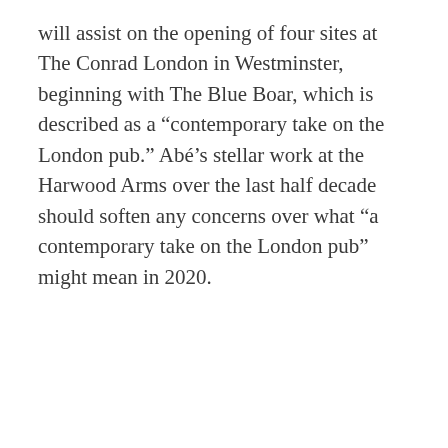will assist on the opening of four sites at The Conrad London in Westminster, beginning with The Blue Boar, which is described as a “contemporary take on the London pub.” Abé’s stellar work at the Harwood Arms over the last half decade should soften any concerns over what “a contemporary take on the London pub” might mean in 2020.